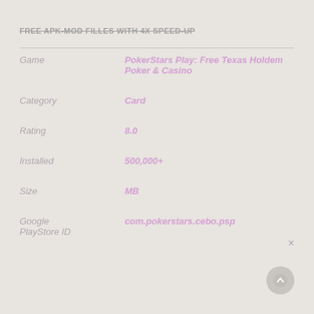FREE APK-MOD FILLES WITH 4X SPEED-UP
| Field | Value |
| --- | --- |
| Game | PokerStars Play: Free Texas Holdem Poker & Casino |
| Category | Card |
| Rating | 8.0 |
| Installed | 500,000+ |
| Size | MB |
| Google PlayStore ID | com.pokerstars.cebo.psp |